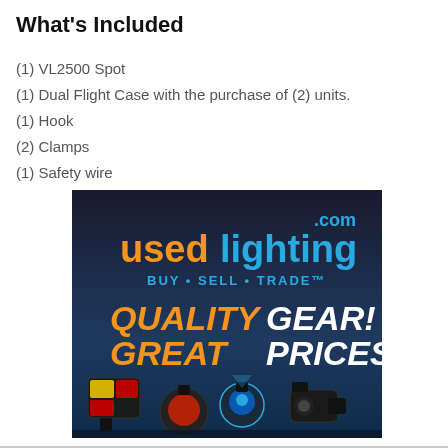What's Included
(1) VL2500 Spot
(1) Dual Flight Case with the purchase of (2) units.
(1) Hook
(2) Clamps
(1) Safety wire
[Figure (illustration): usedlighting.com advertisement banner with text 'BUY • SELL • TRADE™', 'QUALITY GEAR! GREAT PRICES!' and images of stage lighting equipment on a dark blue background.]